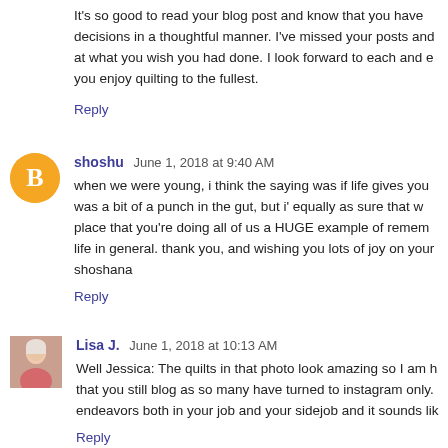It's so good to read your blog post and know that you have decisions in a thoughtful manner. I've missed your posts and at what you wish you had done. I look forward to each and e you enjoy quilting to the fullest.
Reply
shoshu  June 1, 2018 at 9:40 AM
when we were young, i think the saying was if life gives you was a bit of a punch in the gut, but i' equally as sure that w place that you're doing all of us a HUGE example of remem life in general. thank you, and wishing you lots of joy on your shoshana
Reply
Lisa J.  June 1, 2018 at 10:13 AM
Well Jessica: The quilts in that photo look amazing so I am h that you still blog as so many have turned to instagram only. endeavors both in your job and your sidejob and it sounds lik
Reply